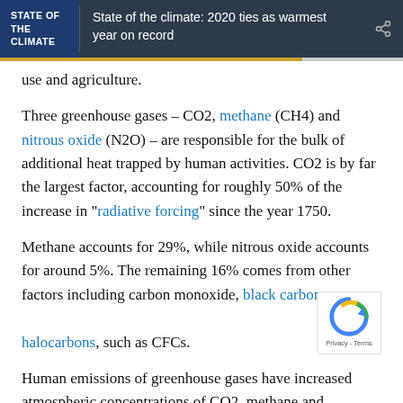STATE OF THE CLIMATE | State of the climate: 2020 ties as warmest year on record
use and agriculture.
Three greenhouse gases – CO2, methane (CH4) and nitrous oxide (N2O) – are responsible for the bulk of additional heat trapped by human activities. CO2 is by far the largest factor, accounting for roughly 50% of the increase in "radiative forcing" since the year 1750.
Methane accounts for 29%, while nitrous oxide accounts for around 5%. The remaining 16% comes from other factors including carbon monoxide, black carbon and halocarbons, such as CFCs.
Human emissions of greenhouse gases have increased atmospheric concentrations of CO2, methane and